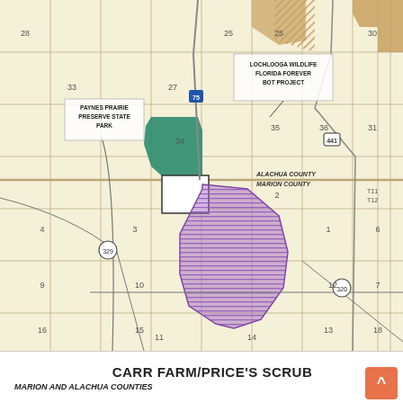[Figure (map): Land parcel map showing Carr Farm/Price's Scrub area spanning Marion and Alachua Counties, Florida. Features section numbers, roads including US-441, I-75, and routes 329 and 320. Shows Paynes Prairie Preserve State Park labeled in upper left, Lochlooga Wildlife Florida Forever BOT Project in upper center-right. A green shaded area represents one parcel in the upper portion, a purple hatched area represents the main Carr Farm/Price's Scrub parcel in the center-lower section, and an orange/tan area in the upper right corner. The county line between Alachua County (north) and Marion County (south) is marked with a thick horizontal line.]
CARR FARM/PRICE'S SCRUB
MARION AND ALACHUA COUNTIES